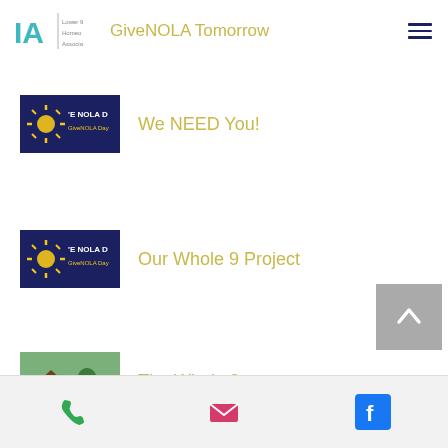Lower 9th Ward Homeowners Association — GiveNOLA Tomorrow
[Figure (logo): Lower 9th Ward Homeowners Association logo with IA monogram]
GiveNOLA Tomorrow
[Figure (logo): GiveNOLA Day banner logo — dark blue background with yellow sun]
We NEED You!
[Figure (logo): GiveNOLA Day banner logo — dark blue background with yellow sun]
Our Whole 9 Project
[Figure (photo): Outdoor photo of Whole 9 project with greenery and houses]
The Whole 9
Phone | Email | Facebook